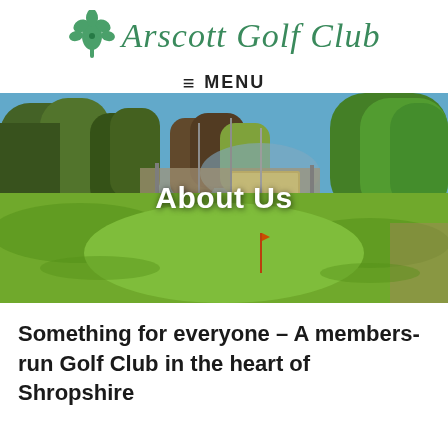[Figure (logo): Arscott Golf Club logo with green leaf/chestnut icon and italic green cursive text reading 'Arscott Golf Club']
≡ MENU
[Figure (photo): Golf course scenic photo showing green fairway with flagstick, trees in background under blue sky, with 'About Us' text overlay]
Something for everyone – A members-run Golf Club in the heart of Shropshire